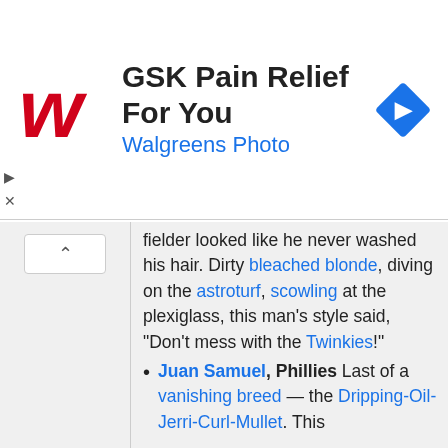[Figure (logo): Walgreens red stylized W logo]
GSK Pain Relief For You
Walgreens Photo
[Figure (other): Blue diamond navigation arrow icon]
fielder looked like he never washed his hair. Dirty bleached blonde, diving on the astroturf, scowling at the plexiglass, this man's style said, "Don't mess with the Twinkies!"
Juan Samuel, Phillies Last of a vanishing breed — the Dripping-Oil-Jerri-Curl-Mullet. This